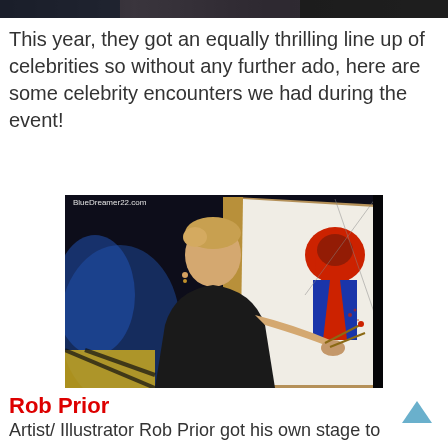[Figure (photo): Top strip of a dark/blurred background photo at the very top of the page]
This year, they got an equally thrilling line up of celebrities so without any further ado, here are some celebrity encounters we had during the event!
[Figure (photo): Photo of artist Rob Prior painting a Spider-Man illustration on a large canvas on an easel, in a dark event venue with blue stage lighting. Watermark reads BlueDreamer22.com]
Rob Prior
Artist/ Illustrator Rob Prior got his own stage to